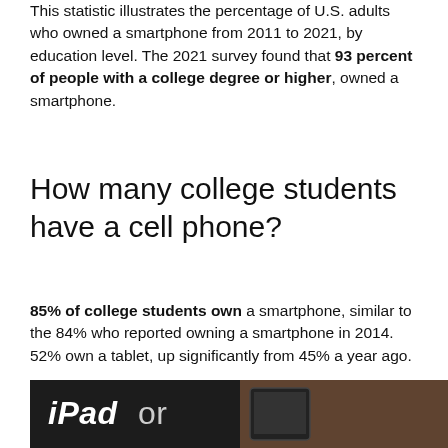This statistic illustrates the percentage of U.S. adults who owned a smartphone from 2011 to 2021, by education level. The 2021 survey found that 93 percent of people with a college degree or higher, owned a smartphone.
How many college students have a cell phone?
85% of college students own a smartphone, similar to the 84% who reported owning a smartphone in 2014. 52% own a tablet, up significantly from 45% a year ago.
[Figure (photo): Dark background image showing an iPad device with text overlay reading 'iPad or']